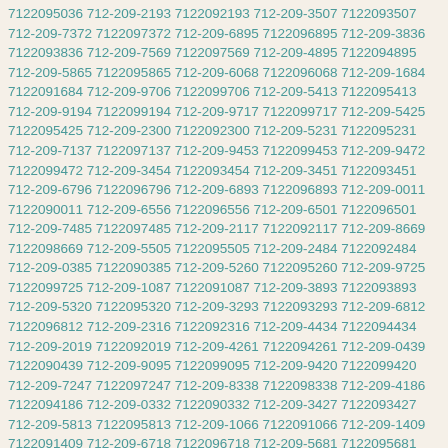7122095036 712-209-2193 7122092193 712-209-3507 7122093507 712-209-7372 7122097372 712-209-6895 7122096895 712-209-3836 7122093836 712-209-7569 7122097569 712-209-4895 7122094895 712-209-5865 7122095865 712-209-6068 7122096068 712-209-1684 7122091684 712-209-9706 7122099706 712-209-5413 7122095413 712-209-9194 7122099194 712-209-9717 7122099717 712-209-5425 7122095425 712-209-2300 7122092300 712-209-5231 7122095231 712-209-7137 7122097137 712-209-9453 7122099453 712-209-9472 7122099472 712-209-3454 7122093454 712-209-3451 7122093451 712-209-6796 7122096796 712-209-6893 7122096893 712-209-0011 7122090011 712-209-6556 7122096556 712-209-6501 7122096501 712-209-7485 7122097485 712-209-2117 7122092117 712-209-8669 7122098669 712-209-5505 7122095505 712-209-2484 7122092484 712-209-0385 7122090385 712-209-5260 7122095260 712-209-9725 7122099725 712-209-1087 7122091087 712-209-3893 7122093893 712-209-5320 7122095320 712-209-3293 7122093293 712-209-6812 7122096812 712-209-2316 7122092316 712-209-4434 7122094434 712-209-2019 7122092019 712-209-4261 7122094261 712-209-0439 7122090439 712-209-9095 7122099095 712-209-9420 7122099420 712-209-7247 7122097247 712-209-8338 7122098338 712-209-4186 7122094186 712-209-0332 7122090332 712-209-3427 7122093427 712-209-5813 7122095813 712-209-1066 7122091066 712-209-1409 7122091409 712-209-6718 7122096718 712-209-5681 7122095681 712-209-7243 7122097243 712-209-3701 7122093701 712-209-1327 7122091327 712-209-4344 7122094344 712-209-3358 7122093358 712-209-4013 7122094013 712-209-3869 7122093869 712-209-8633 7122098633 712-209-7598 7122097598 712-209-3041 7122093041 712-